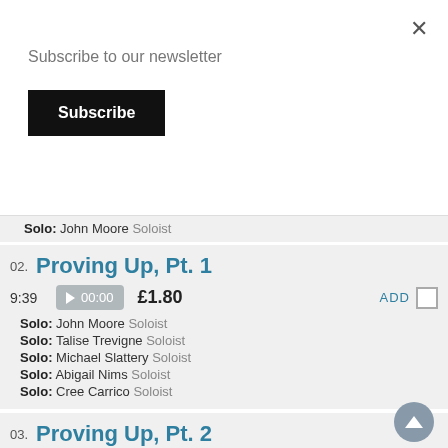×
Subscribe to our newsletter
Subscribe
Solo: John Moore Soloist
02. Proving Up, Pt. 1
9:39  00:00  £1.80  ADD
Solo: John Moore Soloist
Solo: Talise Trevigne Soloist
Solo: Michael Slattery Soloist
Solo: Abigail Nims Soloist
Solo: Cree Carrico Soloist
03. Proving Up, Pt. 2
7:16  00:00  £1.80  ADD
Solo: John Moore Soloist
Solo: Talise Trevigne Soloist